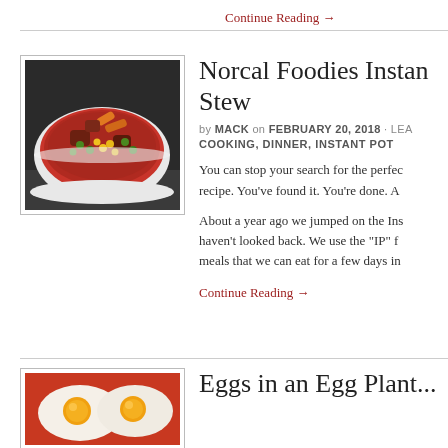Continue Reading →
Norcal Foodies Instant Pot Stew
by MACK on FEBRUARY 20, 2018 · COOKING, DINNER, INSTANT POT
[Figure (photo): Bowl of hearty beef stew with carrots, green peas, corn, and meat in a white bowl]
You can stop your search for the perfect stew recipe. You've found it. You're done. A
About a year ago we jumped on the Instant Pot bandwagon and haven't looked back. We use the "IP" for batch cooking meals that we can eat for a few days in a row.
Continue Reading →
Eggs in an Egg Plant...
[Figure (photo): Partial view of eggs dish at bottom of page]